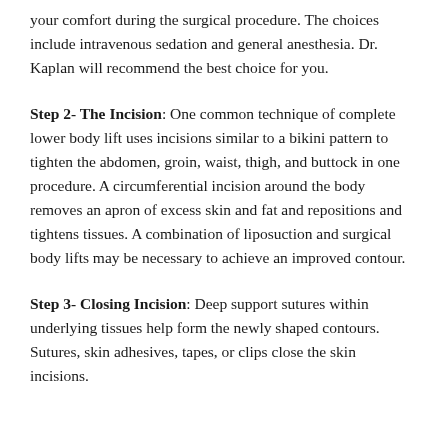your comfort during the surgical procedure. The choices include intravenous sedation and general anesthesia. Dr. Kaplan will recommend the best choice for you.
Step 2- The Incision: One common technique of complete lower body lift uses incisions similar to a bikini pattern to tighten the abdomen, groin, waist, thigh, and buttock in one procedure. A circumferential incision around the body removes an apron of excess skin and fat and repositions and tightens tissues. A combination of liposuction and surgical body lifts may be necessary to achieve an improved contour.
Step 3- Closing Incision: Deep support sutures within underlying tissues help form the newly shaped contours. Sutures, skin adhesives, tapes, or clips close the skin incisions.